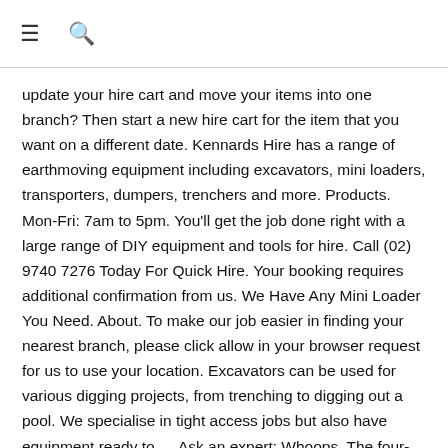≡ 🔍
update your hire cart and move your items into one branch? Then start a new hire cart for the item that you want on a different date. Kennards Hire has a range of earthmoving equipment including excavators, mini loaders, transporters, dumpers, trenchers and more. Products. Mon-Fri: 7am to 5pm. You'll get the job done right with a large range of DIY equipment and tools for hire. Call (02) 9740 7276 Today For Quick Hire. Your booking requires additional confirmation from us. We Have Any Mini Loader You Need. About. To make our job easier in finding your nearest branch, please click allow in your browser request for us to use your location. Excavators can be used for various digging projects, from trenching to digging out a pool. We specialise in tight access jobs but also have equipment ready to … Ask an expert: Whoops. The four-in-one bucket gives you a lot of options, and the full roll over protection canopy will give you peace of mind. in 5 nearest branches, Checking availability Don't worry, just enter your, Street number is required to check availability. We only deal in quality equipment hire, and the range of brands that we